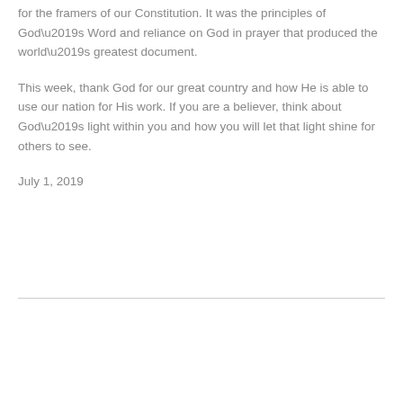for the framers of our Constitution. It was the principles of God’s Word and reliance on God in prayer that produced the world’s greatest document.
This week, thank God for our great country and how He is able to use our nation for His work. If you are a believer, think about God’s light within you and how you will let that light shine for others to see.
July 1, 2019